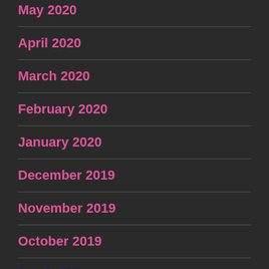May 2020
April 2020
March 2020
February 2020
January 2020
December 2019
November 2019
October 2019
September 2019